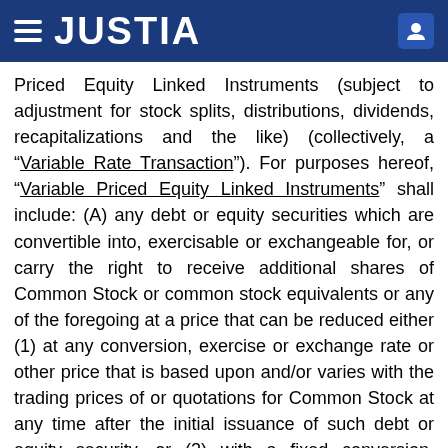JUSTIA
Priced Equity Linked Instruments (subject to adjustment for stock splits, distributions, dividends, recapitalizations and the like) (collectively, a “Variable Rate Transaction”). For purposes hereof, “Variable Priced Equity Linked Instruments” shall include: (A) any debt or equity securities which are convertible into, exercisable or exchangeable for, or carry the right to receive additional shares of Common Stock or common stock equivalents or any of the foregoing at a price that can be reduced either (1) at any conversion, exercise or exchange rate or other price that is based upon and/or varies with the trading prices of or quotations for Common Stock at any time after the initial issuance of such debt or equity security, or (2) with a fixed conversion, exercise or exchange price that is subject to being reset at some future date at any time after the initial issuance of such debt or equity security due to a change in the market